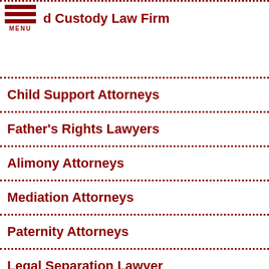MENU  d Custody Law Firm
Child Support Attorneys
Father's Rights Lawyers
Alimony Attorneys
Mediation Attorneys
Paternity Attorneys
Legal Separation Lawyer
Parenting Plan Lawyer